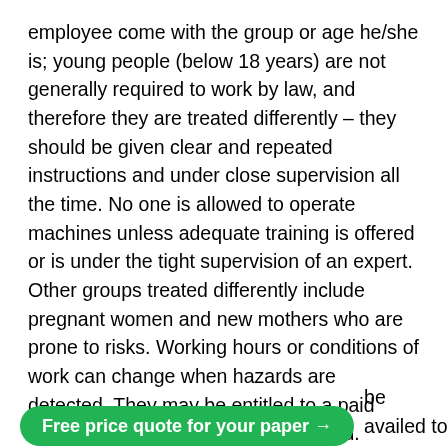employee come with the group or age he/she is; young people (below 18 years) are not generally required to work by law, and therefore they are treated differently – they should be given clear and repeated instructions and under close supervision all the time. No one is allowed to operate machines unless adequate training is offered or is under the tight supervision of an expert. Other groups treated differently include pregnant women and new mothers who are prone to risks. Working hours or conditions of work can change when hazards are detected. They may be entitled to a paid leave to make them evade the hazard. Training is a vital element in maintaining the productivity of employees. Training in the use of the recent technology at the expense of the employer as well as study leaves, to enable employees to gain advanced knowledge, should be offered. Other forms of training include first aid or disaster management in the
Free price quote for your paper → be availed to any